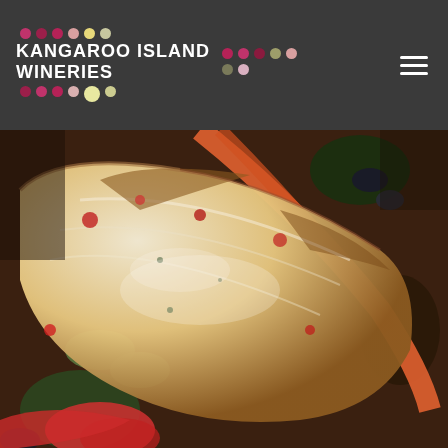[Figure (logo): Kangaroo Island Wineries logo with colorful dot pattern and white text on dark grey header background]
[Figure (photo): Close-up food photo showing grilled seafood (likely crayfish/lobster) with vegetables, orange/red tones, top-down view]